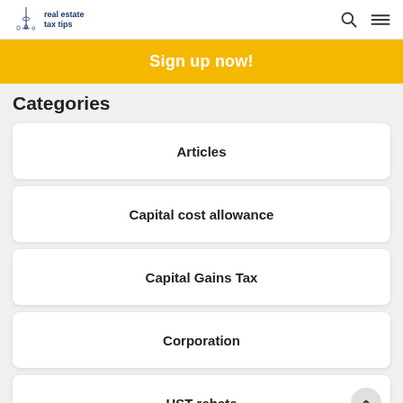real estate tax tips
Sign up now!
Categories
Articles
Capital cost allowance
Capital Gains Tax
Corporation
HST rebate
Life Lessons